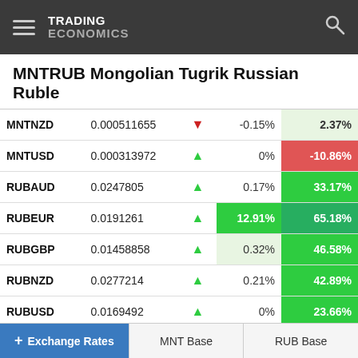TRADING ECONOMICS
MNTRUB Mongolian Tugrik Russian Ruble
| Pair | Value |  | Change% | Yearly% |
| --- | --- | --- | --- | --- |
| MNTNZD | 0.000511655 | ▼ | -0.15% | 2.37% |
| MNTUSD | 0.000313972 | ▲ | 0% | -10.86% |
| RUBAUD | 0.0247805 | ▲ | 0.17% | 33.17% |
| RUBEUR | 0.0191261 | ▲ | 12.91% | 65.18% |
| RUBGBP | 0.01458858 | ▲ | 0.32% | 46.58% |
| RUBNZD | 0.0277214 | ▲ | 0.21% | 42.89% |
| RUBUSD | 0.0169492 | ▲ | 0% | 23.66% |
+ Exchange Rates
MNT Base
RUB Base